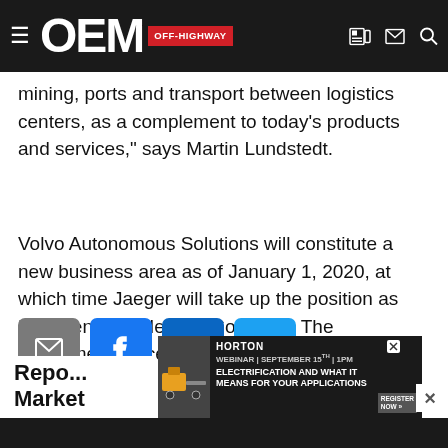OEM OFF-HIGHWAY
mining, ports and transport between logistics centers, as a complement to today’s products and services," says Martin Lundstedt.
Volvo Autonomous Solutions will constitute a new business area as of January 1, 2020, at which time Jaeger will take up the position as President and Head of Solutions. The recruitment process for his successor will now commence.
[Figure (infographic): Social share buttons: email (grey), Facebook (blue), LinkedIn (blue), Twitter (blue)]
Repo...
Market Outlook
[Figure (infographic): Horton advertisement banner: WEBINAR | SEPTEMBER 15TH | 1PM - ELECTRIFICATION AND WHAT IT MEANS FOR YOUR APPLICATIONS - REGISTER NOW]